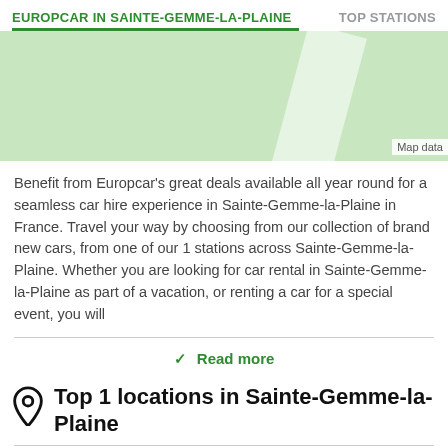EUROPCAR IN SAINTE-GEMME-LA-PLAINE   TOP STATIONS
[Figure (map): Green map background with diagonal white road and 'Map data' label at bottom right]
Benefit from Europcar's great deals available all year round for a seamless car hire experience in Sainte-Gemme-la-Plaine in France. Travel your way by choosing from our collection of brand new cars, from one of our 1 stations across Sainte-Gemme-la-Plaine. Whether you are looking for car rental in Sainte-Gemme-la-Plaine as part of a vacation, or renting a car for a special event, you will
Read more
Top 1 locations in Sainte-Gemme-la-Plaine
Lucon